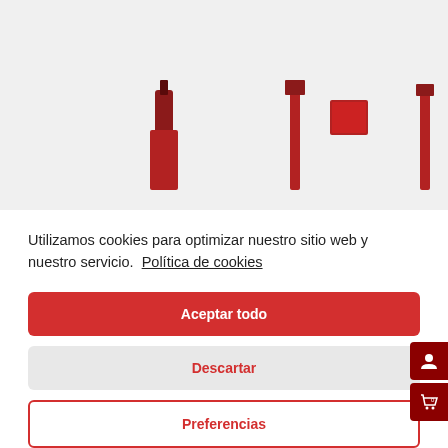[Figure (photo): Product images (red items) partially visible at the top of the page behind the cookie consent overlay]
Utilizamos cookies para optimizar nuestro sitio web y nuestro servicio.  Política de cookies
Aceptar todo
Descartar
Preferencias
IVA incl.